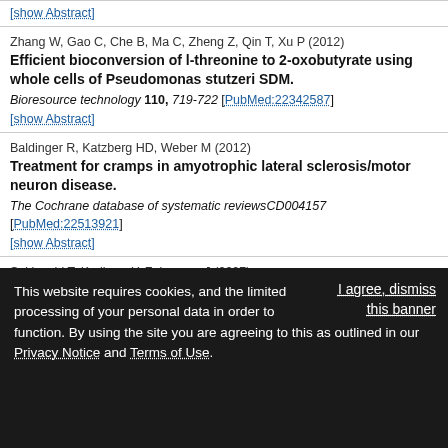[show Abstract]
Zhang W, Gao C, Che B, Ma C, Zheng Z, Qin T, Xu P (2012) Efficient bioconversion of l-threonine to 2-oxobutyrate using whole cells of Pseudomonas stutzeri SDM. Bioresource technology 110, 719-722 [PubMed:22342587] [show Abstract]
Baldinger R, Katzberg HD, Weber M (2012) Treatment for cramps in amyotrophic lateral sclerosis/motor neuron disease. The Cochrane database of systematic reviewsCD004157 [PubMed:22513921] [show Abstract]
Sekiguchi T, Kurihara Y, Fukumura J (2007) Phosphorylation of threonine 204 of DEAD-box RNA helicase DDX3 by cyclin B/cdc2 in vitro.
This website requires cookies, and the limited processing of your personal data in order to function. By using the site you are agreeing to this as outlined in our Privacy Notice and Terms of Use. I agree, dismiss this banner